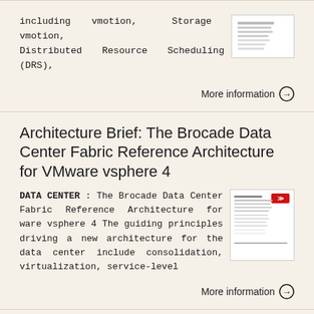including vmotion, Storage vmotion, Distributed Resource Scheduling (DRS),
More information →
Architecture Brief: The Brocade Data Center Fabric Reference Architecture for VMware vsphere 4
DATA CENTER : The Brocade Data Center Fabric Reference Architecture for ware vsphere 4 The guiding principles driving a new architecture for the data center include consolidation, virtualization, service-level
[Figure (screenshot): Thumbnail of Brocade document with red Brocade logo]
More information →
Cisco Nexus Family Delivers Data Center Transformation
Cisco Nexus Family Delivers Data Center